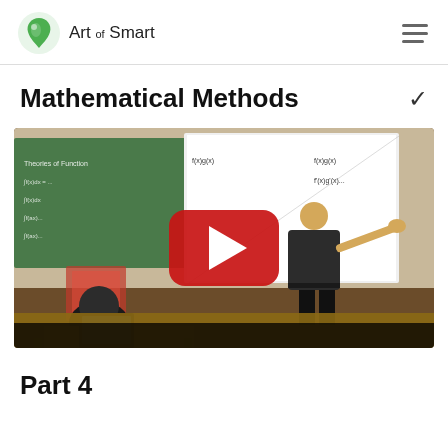Art of Smart
Mathematical Methods
[Figure (screenshot): A classroom video thumbnail showing a teacher standing at a whiteboard/projector screen pointing to mathematical content, with a student seated in the foreground. A red YouTube play button is overlaid in the center of the image.]
Part 4